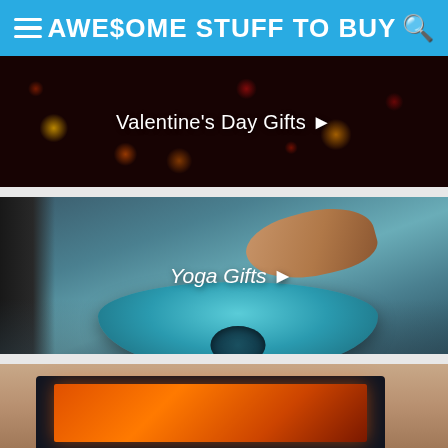AWE$OME STUFF TO BUY
[Figure (photo): Valentine's Day banner with bokeh heart-shaped lights in warm red and yellow tones on dark background, with text 'Valentine's Day Gifts']
[Figure (photo): Yoga mat being rolled on floor with hand pressing down, teal/blue mat, with text 'Yoga Gifts']
[Figure (photo): Home interior scene with a TV mounted on wall showing an orange/fire screensaver, beige walls]